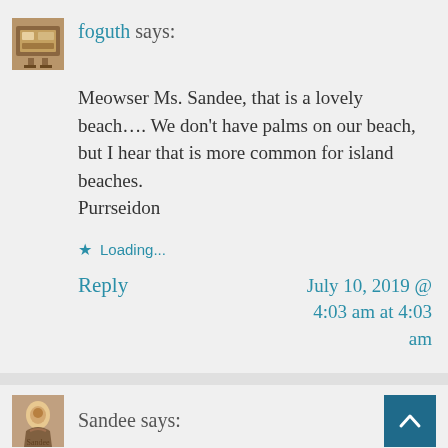foguth says:
Meowser Ms. Sandee, that is a lovely beach.... We don't have palms on our beach, but I hear that is more common for island beaches.
Purrseidon
★ Loading...
Reply
July 10, 2019 @ 4:03 am at 4:03 am
Sandee says: